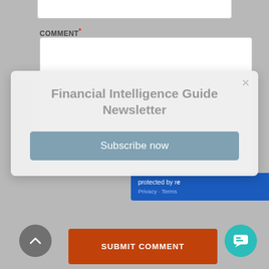COMMENT*
[Figure (screenshot): Newsletter subscription popup modal with title 'Financial Intelligence Guide Newsletter' and a 'Subscribe now' button]
Got any questions? I'm happy to help.
protected by re
Privacy - Terms
SUBMIT COMMENT